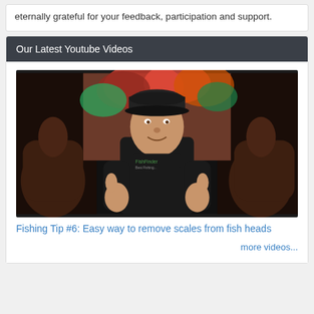eternally grateful for your feedback, participation and support.
Our Latest Youtube Videos
[Figure (photo): A man in a dark baseball cap and black t-shirt giving two thumbs up, standing in front of colorful tropical foliage. Large thumbs-up hands are visible in the foreground on left and right sides.]
Fishing Tip #6: Easy way to remove scales from fish heads
more videos...